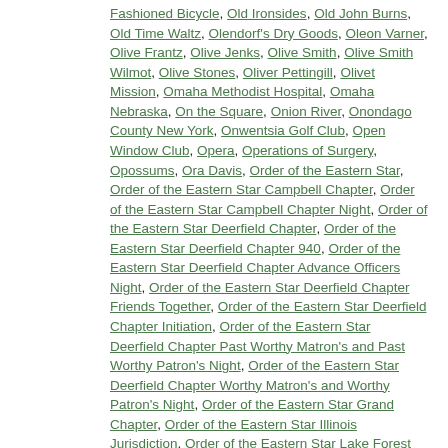Fashioned Bicycle, Old Ironsides, Old John Burns, Old Time Waltz, Olendorf's Dry Goods, Oleon Varner, Olive Frantz, Olive Jenks, Olive Smith, Olive Smith Wilmot, Olive Stones, Oliver Pettingill, Olivet Mission, Omaha Methodist Hospital, Omaha Nebraska, On the Square, Onion River, Onondago County New York, Onwentsia Golf Club, Open Window Club, Opera, Operations of Surgery, Opossums, Ora Davis, Order of the Eastern Star, Order of the Eastern Star Campbell Chapter, Order of the Eastern Star Campbell Chapter Night, Order of the Eastern Star Deerfield Chapter, Order of the Eastern Star Deerfield Chapter 940, Order of the Eastern Star Deerfield Chapter Advance Officers Night, Order of the Eastern Star Deerfield Chapter Friends Together, Order of the Eastern Star Deerfield Chapter Initiation, Order of the Eastern Star Deerfield Chapter Past Worthy Matron's and Past Worthy Patron's Night, Order of the Eastern Star Deerfield Chapter Worthy Matron's and Worthy Patron's Night, Order of the Eastern Star Grand Chapter, Order of the Eastern Star Illinois Jurisdiction, Order of the Eastern Star Lake Forest Chapter, Order of the Eastern Star Palatine Chapter, Order of the Eastern Star Waukegan Chapter, ...